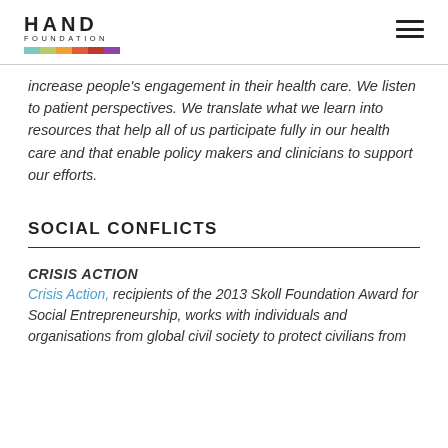HAND FOUNDATION
increase people's engagement in their health care. We listen to patient perspectives. We translate what we learn into resources that help all of us participate fully in our health care and that enable policy makers and clinicians to support our efforts.
SOCIAL CONFLICTS
CRISIS ACTION
Crisis Action, recipients of the 2013 Skoll Foundation Award for Social Entrepreneurship, works with individuals and organisations from global civil society to protect civilians from